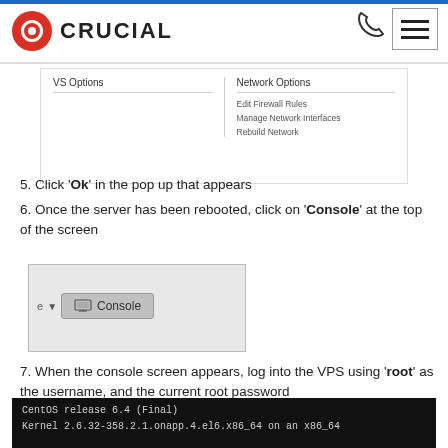CRUCIAL
[Figure (screenshot): Navigation dropdown showing VS Options and Network Options menus with items: Edit Firewall Rules, Manage Network Interfaces, Rebuild Network]
5. Click 'Ok' in the pop up that appears
6. Once the server has been rebooted, click on 'Console' at the top of the screen
[Figure (screenshot): Screenshot of Console button in UI]
7. When the console screen appears, log into the VPS using 'root' as the username, and the current root password
8. Type 'fdisk -l'
[Figure (screenshot): Terminal showing: CentOS release 6.4 (Final) / Kernel 2.6.32-358.2.1.onapp.4.el6.x86_64 on an x86_64]